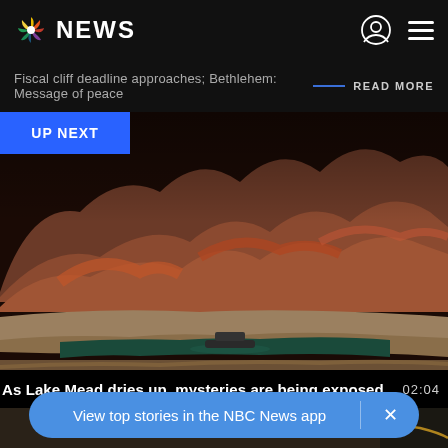NBC NEWS
Fiscal cliff deadline approaches; Bethlehem: Message of peace
READ MORE
UP NEXT
[Figure (photo): Aerial view of Lake Mead showing extremely low water levels, with reddish-brown rocky mountains in the background and a small strip of dark green water visible. A boat is on the water. The lake bed is exposed, showing tan/brown earth.]
As Lake Mead dries up, mysteries are being exposed  02:04
[Figure (photo): Partial view of interior room or garage scene, muted colors]
View top stories in the NBC News app  ×